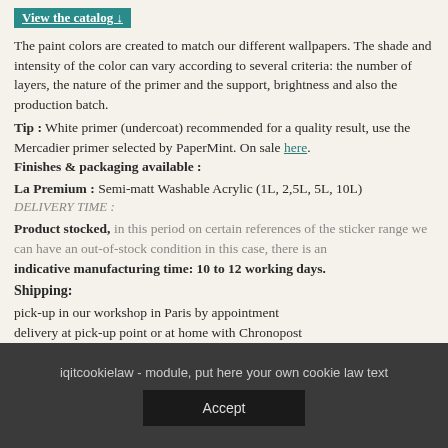View the catalog
The paint colors are created to match our different wallpapers. The shade and intensity of the color can vary according to several criteria: the number of layers, the nature of the primer and the support, brightness and also the production batch.
Tip : White primer (undercoat) recommended for a quality result, use the Mercadier primer selected by PaperMint. On sale here.
Finishes & packaging available :
La Premium : Semi-matt Washable Acrylic (1L, 2,5L, 5L, 10L)
DELIVERY TIME :
Product stocked, in this period on certain references of the sticker range we can have an out-of-stock condition in this case, there is an
indicative manufacturing time: 10 to 12 working days.
Shipping:
pick-up in our workshop in Paris by appointment
delivery at pick-up point or at home with Chronopost
Need more info ? Please contact us by mail
iqitcookielaw - module, put here your own cookie law text
Accept